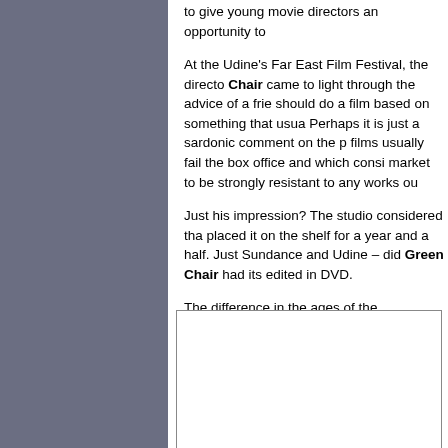to give young movie directors an opportunity to...
At the Udine's Far East Film Festival, the director... Chair came to light through the advice of a frie... should do a film based on something that usua... Perhaps it is just a sardonic comment on the pa... films usually fail the box office and which consi... market to be strongly resistant to any works ou...
Just his impression? The studio considered tha... placed it on the shelf for a year and a half. Just... Sundance and Udine – did Green Chair had its... edited in DVD.
The difference in the ages of the protagonists i... two characters "on the side" having to deal with... that appears to be impossible to turn around; fi... friend. The three of them form a sui generis fam...
[Figure (photo): A photograph or image box with white background and border, partially visible at the bottom right of the page.]